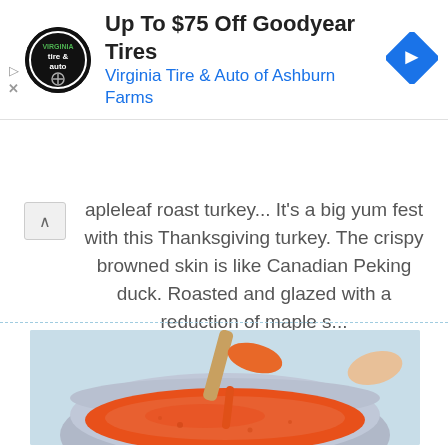[Figure (other): Advertisement banner: Virginia Tire & Auto logo (circular black badge), headline 'Up To $75 Off Goodyear Tires', subtext 'Virginia Tire & Auto of Ashburn Farms', blue diamond navigation arrow icon on right. Play and X controls on far left.]
apleleaf roast turkey... It's a big yum fest with this Thanksgiving turkey. The crispy browned skin is like Canadian Peking duck. Roasted and glazed with a reduction of maple s...
[Figure (photo): Photo of an orange-red tomato or pepper sauce in a scalloped ceramic bowl, with a wooden spoon being lifted dripping with the thick sauce. Light blue background.]